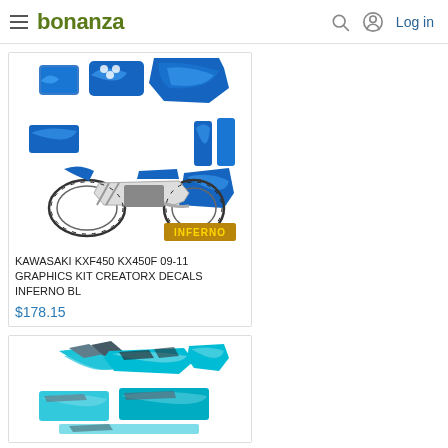bonanza | Log in
[Figure (photo): Kawasaki KXF450 dirt bike with blue flame graphics kit components laid out around it, showing panels, shrouds, and fairings with INFERNO BL design. Gold INFERNO logo in bottom right corner.]
KAWASAKI KXF450 KX450F 09-11 GRAPHICS KIT CREATORX DECALS INFERNO BL
$178.15
[Figure (photo): Partial view of another motorcycle graphics kit with teal/blue and gray/black abstract pattern design on panels.]